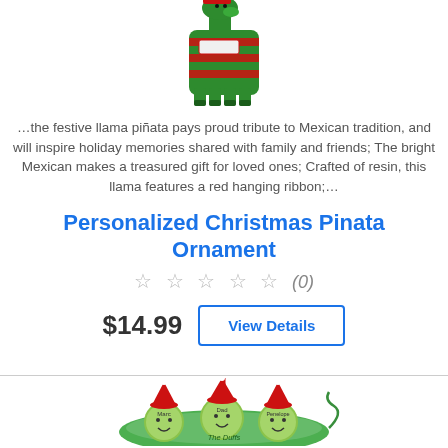[Figure (photo): Colorful knitted llama piñata ornament in red and green colors]
…the festive llama piñata pays proud tribute to Mexican tradition, and will inspire holiday memories shared with family and friends; The bright Mexican makes a treasured gift for loved ones; Crafted of resin, this llama features a red hanging ribbon;…
Personalized Christmas Pinata Ornament
☆ ☆ ☆ ☆ ☆ (0)
$14.99
View Details
[Figure (photo): Peas in a pod Christmas ornament with three smiling pea faces wearing Santa hats, labeled Marc, Dad, Penelope, with The Duffs written on pod]